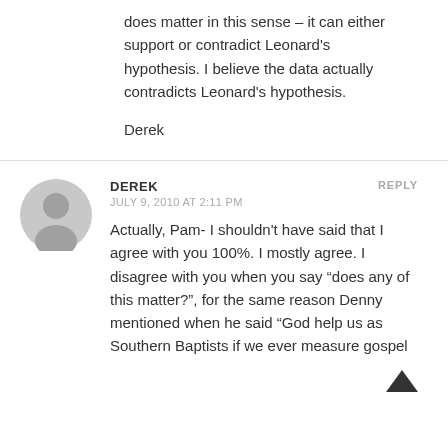does matter in this sense – it can either support or contradict Leonard's hypothesis. I believe the data actually contradicts Leonard's hypothesis.
Derek
DEREK
JULY 9, 2010 AT 2:11 PM
REPLY
[Figure (illustration): Generic grey user avatar silhouette icon]
Actually, Pam- I shouldn't have said that I agree with you 100%. I mostly agree. I disagree with you when you say “does any of this matter?”, for the same reason Denny mentioned when he said “God help us as Southern Baptists if we ever measure gospel